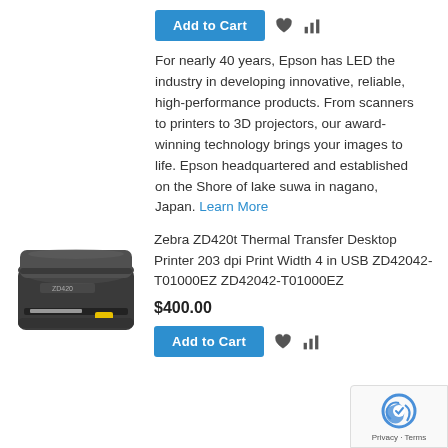[Figure (other): Add to Cart button with heart and bar chart icons]
For nearly 40 years, Epson has LED the industry in developing innovative, reliable, high-performance products. From scanners to printers to 3D projectors, our award-winning technology brings your images to life. Epson headquartered and established on the Shore of lake suwa in nagano, Japan. Learn More
[Figure (photo): Zebra ZD420t Thermal Transfer Desktop Printer product image]
Zebra ZD420t Thermal Transfer Desktop Printer 203 dpi Print Width 4 in USB ZD42042-T01000EZ ZD42042-T01000EZ
$400.00
[Figure (other): Add to Cart button with heart and bar chart icons]